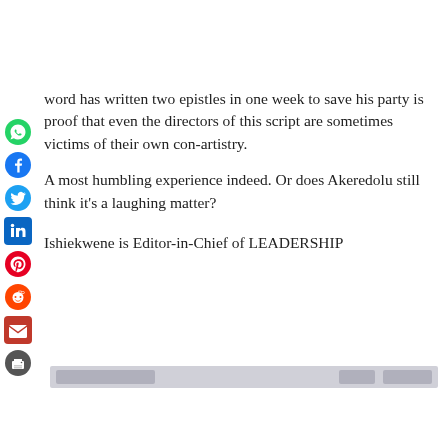word has written two epistles in one week to save his party is proof that even the directors of this script are sometimes victims of their own con-artistry.
A most humbling experience indeed. Or does Akeredolu still think it's a laughing matter?
Ishiekwene is Editor-in-Chief of LEADERSHIP